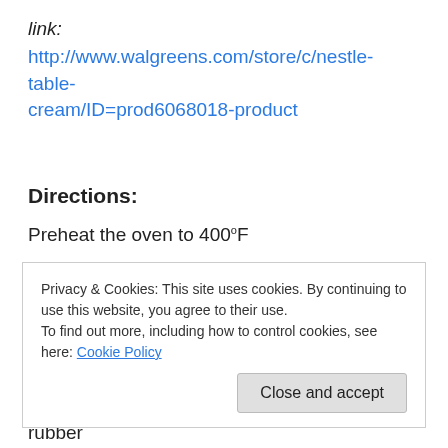link:
http://www.walgreens.com/store/c/nestle-table-cream/ID=prod6068018-product
Directions:
Preheat the oven to 400ºF
Grease and line a 9 in round cake mold.
Privacy & Cookies: This site uses cookies. By continuing to use this website, you agree to their use.
To find out more, including how to control cookies, see here: Cookie Policy
vanilla. Fold the egg whites in gently, using a rubber